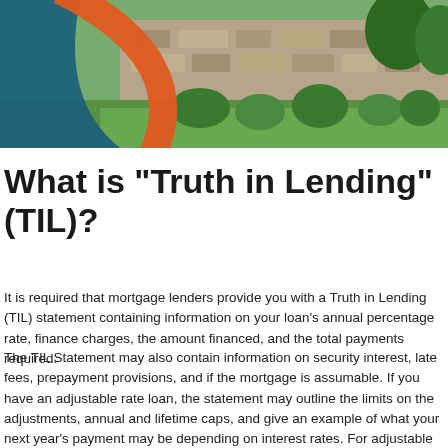[Figure (photo): Header photo of a stone house exterior with green lawn, shrubs, and landscaping. A teal/blue shape and orange arc overlay the left side of the image.]
What is "Truth in Lending" (TIL)?
It is required that mortgage lenders provide you with a Truth in Lending (TIL) statement containing information on your loan's annual percentage rate, finance charges, the amount financed, and the total payments required.
The TIL Statement may also contain information on security interest, late fees, prepayment provisions, and if the mortgage is assumable. If you have an adjustable rate loan, the statement may outline the limits on the adjustments, annual and lifetime caps, and give an example of what your next year's payment may be depending on interest rates. For adjustable rate loans the total payment figure is estimated as a worst-case scenario. The figure reflects the payments you would make if your loan adjusted upward to the maximum rate allowed by